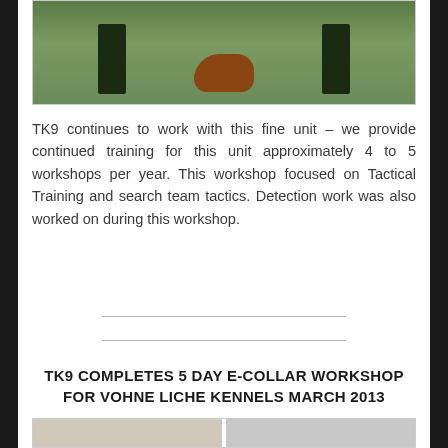[Figure (photo): Two people in dark clothing standing on grass with a dog (German Shepherd or Belgian Malinois) sitting between them]
TK9 continues to work with this fine unit – we provide continued training for this unit approximately 4 to 5 workshops per year.  This workshop focused on Tactical Training and search team tactics.  Detection work was also worked on during this workshop.
TK9 COMPLETES 5 DAY E-COLLAR WORKSHOP FOR VOHNE LICHE KENNELS MARCH 2013
[Figure (photo): Two side-by-side photos at the bottom of the page, partially visible]